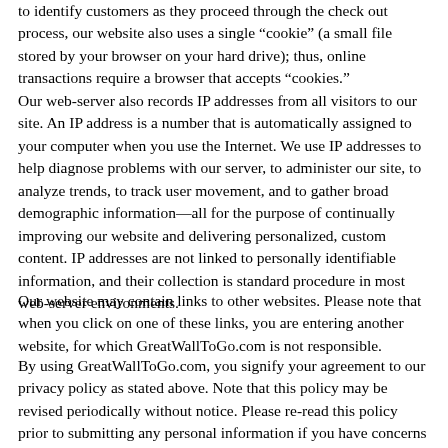to identify customers as they proceed through the check out process, our website also uses a single “cookie” (a small file stored by your browser on your hard drive); thus, online transactions require a browser that accepts “cookies.”
Our web-server also records IP addresses from all visitors to our site. An IP address is a number that is automatically assigned to your computer when you use the Internet. We use IP addresses to help diagnose problems with our server, to administer our site, to analyze trends, to track user movement, and to gather broad demographic information—all for the purpose of continually improving our website and delivering personalized, custom content. IP addresses are not linked to personally identifiable information, and their collection is standard procedure in most web-server environments.
Our website may contain links to other websites. Please note that when you click on one of these links, you are entering another website, for which GreatWallToGo.com is not responsible.
By using GreatWallToGo.com, you signify your agreement to our privacy policy as stated above. Note that this policy may be revised periodically without notice. Please re-read this policy prior to submitting any personal information if you have concerns about how your information is being collected and used.